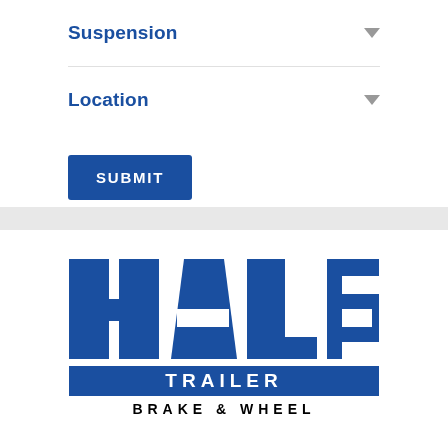Suspension
Location
SUBMIT
[Figure (logo): Hale Trailer Brake & Wheel logo — large blue block letters spelling HALE on top, with TRAILER in white text on a blue bar below, and BRAKE & WHEEL in black text beneath that.]